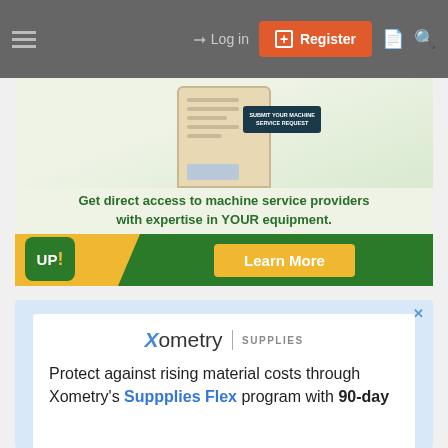Log in | Register
[Figure (infographic): UP! brand advertisement banner showing a mobile phone mockup with 'SUBMIT YOUR MACHINE SERVICE REQUEST' button, green text 'Get direct access to machine service providers with expertise in YOUR equipment.', UP! logo, and a Learn More button on green background with yellow/gold accent.]
[Figure (infographic): Xometry Supplies advertisement with logo, text: 'Protect against rising material costs through Xometry's Suppplies Flex program with 90-day'. Blue and white design with close button.]